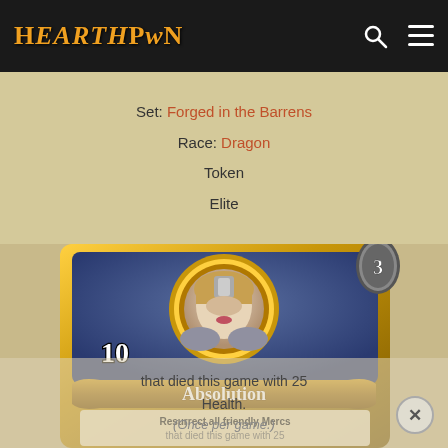HEARTHPWN
Set: Forged in the Barrens
Race: Dragon
Token
Elite
[Figure (illustration): Hearthstone Mercenaries card named Absolution. Gold-framed card with blue background. Shows a female character portrait in a circular golden medallion frame. Number 3 displayed in top right on a hourglass icon. Number 10 shown at the bottom of the portrait area. Card title 'Absolution' on a banner. Card text reads: 'Resurrect all friendly Mercs that died this game with 25 Health. (Once per game.)']